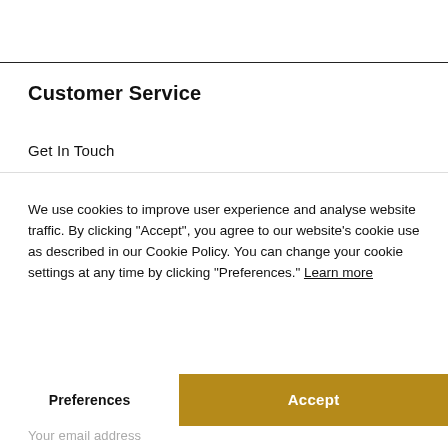Customer Service
Get In Touch
We use cookies to improve user experience and analyse website traffic. By clicking “Accept”, you agree to our website’s cookie use as described in our Cookie Policy. You can change your cookie settings at any time by clicking “Preferences.” Learn more
Preferences
Accept
Your email address